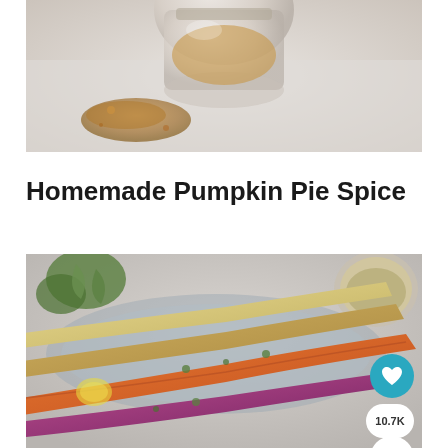[Figure (photo): Top portion of a pumpkin pie spice photo showing a glass jar with spice powder and scattered spice on a light surface]
Homemade Pumpkin Pie Spice
[Figure (photo): Roasted rainbow carrots on a plate with herbs, a bowl of spice in the background, with a teal heart button showing 10.7K saves and a share button]